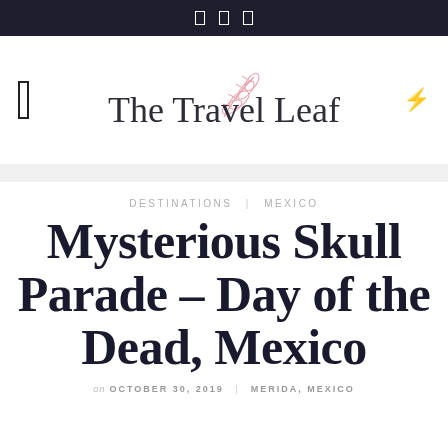Navigation bar with icons
[Figure (logo): The Travel Leaf blog logo with pink leaf illustration and cursive text]
DESTINATIONS   MEXICO
Mysterious Skull Parade – Day of the Dead, Mexico
on OCTOBER 30, 2019   |   MERIDA, MEXICO